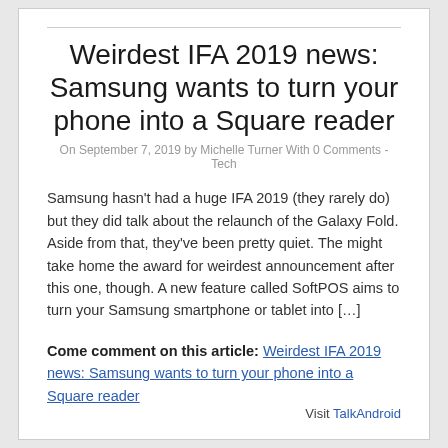Weirdest IFA 2019 news: Samsung wants to turn your phone into a Square reader
On September 7, 2019 by Michelle Turner With 0 Comments - Tech
Samsung hasn't had a huge IFA 2019 (they rarely do) but they did talk about the relaunch of the Galaxy Fold. Aside from that, they've been pretty quiet. The might take home the award for weirdest announcement after this one, though. A new feature called SoftPOS aims to turn your Samsung smartphone or tablet into […]
Come comment on this article: Weirdest IFA 2019 news: Samsung wants to turn your phone into a Square reader
Visit TalkAndroid